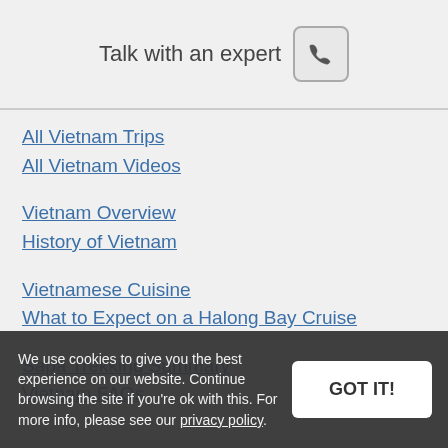Talk with an expert
All Vietnam Trips
All Vietnam Videos
Vietnam Overview
History of Vietnam
Vietnamese Cuisine
What to Expect on a Halong Bay Cruise
Sapa Trekking Summary
Vietnam FAQs
We use cookies to give you the best experience on our website. Continue browsing the site if you're ok with this. For more info, please see our privacy policy.